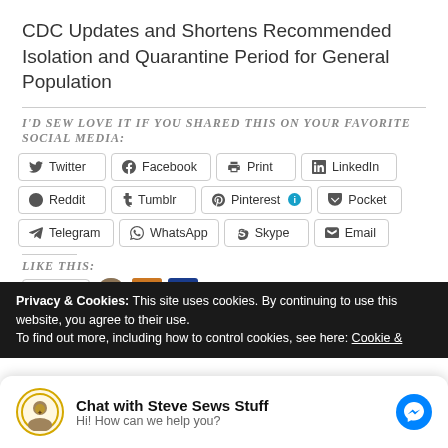CDC Updates and Shortens Recommended Isolation and Quarantine Period for General Population
I'd sew love it if you shared this on your favorite social media:
[Figure (screenshot): Social sharing buttons: Twitter, Facebook, Print, LinkedIn, Reddit, Tumblr, Pinterest, Pocket, Telegram, WhatsApp, Skype, Email]
Like this:
Privacy & Cookies: This site uses cookies. By continuing to use this website, you agree to their use. To find out more, including how to control cookies, see here: Cookie &
Chat with Steve Sews Stuff
Hi! How can we help you?